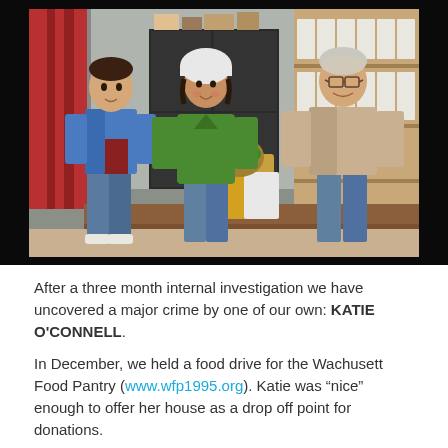[Figure (photo): Three people standing in what appears to be a food pantry or storage room. On the left is a teenage boy in a blue jacket and jeans. In the center is a young woman in a green sweater and white hat. On the right is an older man in a beige jacket. Between them are bags of food donations including a Trader Joe's bag. Shelves with supplies are visible in the background.]
After a three month internal investigation we have uncovered a major crime by one of our own: KATIE O'CONNELL.
In December, we held a food drive for the Wachusett Food Pantry (www.wfp1995.org). Katie was "nice" enough to offer her house as a drop off point for donations.